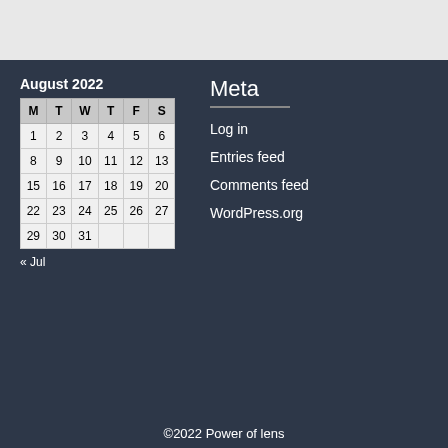August 2022
| M | T | W | T | F | S |
| --- | --- | --- | --- | --- | --- |
| 1 | 2 | 3 | 4 | 5 | 6 |
| 8 | 9 | 10 | 11 | 12 | 13 |
| 15 | 16 | 17 | 18 | 19 | 20 |
| 22 | 23 | 24 | 25 | 26 | 27 |
| 29 | 30 | 31 |  |  |  |
« Jul
Meta
Log in
Entries feed
Comments feed
WordPress.org
©2022 Power of lens